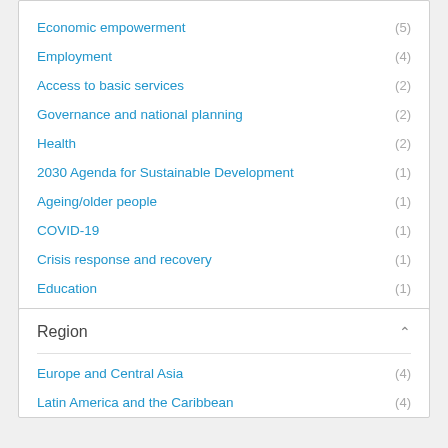Economic empowerment (5)
Employment (4)
Access to basic services (2)
Governance and national planning (2)
Health (2)
2030 Agenda for Sustainable Development (1)
Ageing/older people (1)
COVID-19 (1)
Crisis response and recovery (1)
Education (1)
Show more
Region
Europe and Central Asia (4)
Latin America and the Caribbean (4)